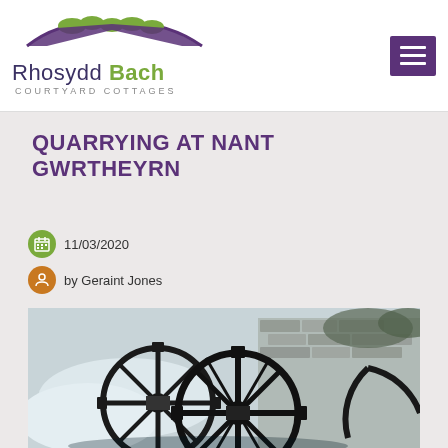Rhosydd Bach Courtyard Cottages
QUARRYING AT NANT GWRTHEYRN
11/03/2020
by Geraint Jones
[Figure (photo): Black and white photograph of large industrial quarry wheel/gear machinery outdoors, with stone wall and foliage in background]